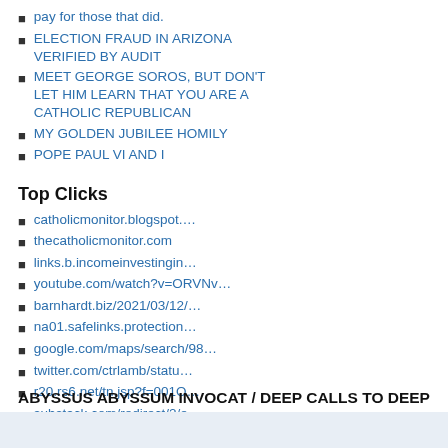pay for those that did.
ELECTION FRAUD IN ARIZONA VERIFIED BY AUDIT
MEET GEORGE SOROS, BUT DON'T LET HIM LEARN THAT YOU ARE A CATHOLIC REPUBLICAN
MY GOLDEN JUBILEE HOMILY
POPE PAUL VI AND I
Top Clicks
catholicmonitor.blogspot....
thecatholicmonitor.com
links.b.incomeinvestingin…
youtube.com/watch?v=ORVNv…
barnhardt.biz/2021/03/12/…
na01.safelinks.protection…
google.com/maps/search/98…
twitter.com/ctrlamb/statu…
r20.rs6.net/tn.jsp?f=001O…
substack.com/redirect/2/e…
ABYSSUS ABYSSUM INVOCAT / DEEP CALLS TO DEEP